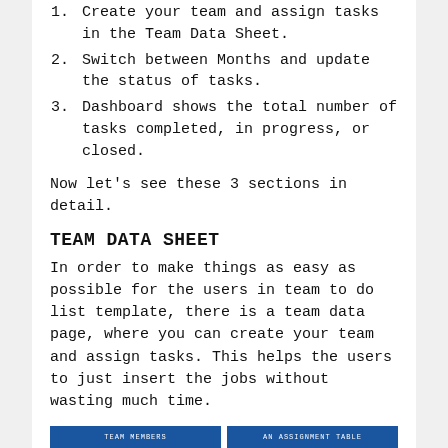1. Create your team and assign tasks in the Team Data Sheet.
2. Switch between Months and update the status of tasks.
3. Dashboard shows the total number of tasks completed, in progress, or closed.
Now let's see these 3 sections in detail.
TEAM DATA SHEET
In order to make things as easy as possible for the users in team to do list template, there is a team data page, where you can create your team and assign tasks. This helps the users to just insert the jobs without wasting much time.
[Figure (screenshot): Two blue-header table strips at the bottom of the page labeled TEAM MEMBERS and AN ASSIGNMENT TABLE]